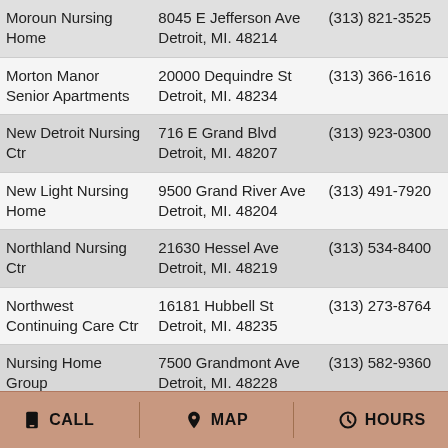| Name | Address | Phone |
| --- | --- | --- |
| Moroun Nursing Home | 8045 E Jefferson Ave Detroit, MI. 48214 | (313) 821-3525 |
| Morton Manor Senior Apartments | 20000 Dequindre St Detroit, MI. 48234 | (313) 366-1616 |
| New Detroit Nursing Ctr | 716 E Grand Blvd Detroit, MI. 48207 | (313) 923-0300 |
| New Light Nursing Home | 9500 Grand River Ave Detroit, MI. 48204 | (313) 491-7920 |
| Northland Nursing Ctr | 21630 Hessel Ave Detroit, MI. 48219 | (313) 534-8400 |
| Northwest Continuing Care Ctr | 16181 Hubbell St Detroit, MI. 48235 | (313) 273-8764 |
| Nursing Home Group | 7500 Grandmont Ave Detroit, MI. 48228 | (313) 582-9360 |
| Oakpointe Villa Nursing Ctr | 18901 Meyers Rd Detroit, MI. 48235 | (313) 864-8481 |
| Omni Convalescent Ctr | 5201 Conner St Detroit, MI. 48213 | (313) 571-5555 |
| Ozie Latrece Home | 9298 Wyoming St Detroit | (313) 931-5544 |